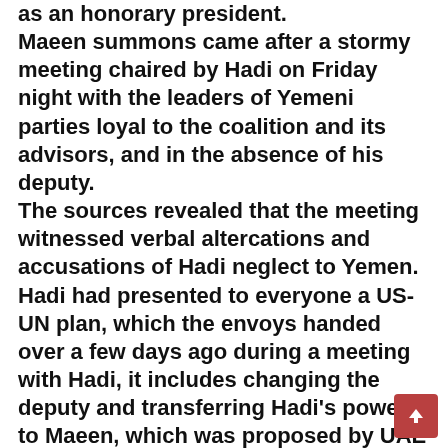as an honorary president. Maeen summons came after a stormy meeting chaired by Hadi on Friday night with the leaders of Yemeni parties loyal to the coalition and its advisors, and in the absence of his deputy. The sources revealed that the meeting witnessed verbal altercations and accusations of Hadi neglect to Yemen. Hadi had presented to everyone a US-UN plan, which the envoys handed over a few days ago during a meeting with Hadi, it includes changing the deputy and transferring Hadi's powers to Maeen, which was proposed by UAE and Saudi Arabia, as an alternative to Ali Mohsen. The meeting came out, according to the sources, with a new vision that is expected to
[Figure (other): Scroll-to-top button: a dark red/maroon square with a white upward arrow icon, positioned in the bottom-right corner]